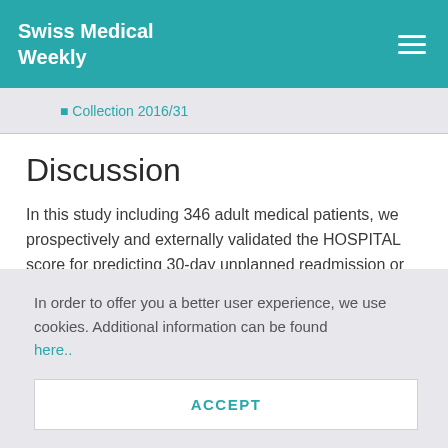Swiss Medical Weekly
Collection 2016/31
Discussion
In this study including 346 adult medical patients, we prospectively and externally validated the HOSPITAL score for predicting 30-day unplanned readmission or death. The score showed good performance, wit
In order to offer you a better user experience, we use cookies. Additional information can be found here..
ACCEPT